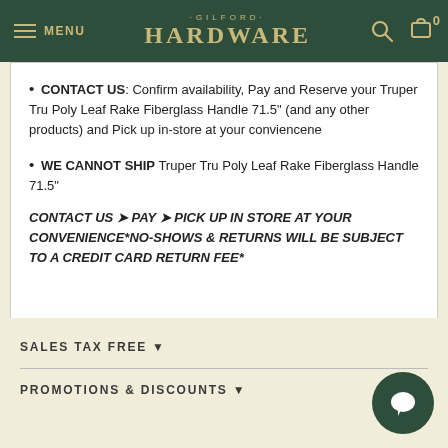MENU · GILFORD · HARDWARE
CONTACT US: Confirm availability, Pay and Reserve your Truper Tru Poly Leaf Rake Fiberglass Handle 71.5" (and any other products) and Pick up in-store at your conviencene
WE CANNOT SHIP Truper Tru Poly Leaf Rake Fiberglass Handle 71.5"
CONTACT US ➤ PAY ➤ PICK UP IN STORE AT YOUR CONVENIENCE*NO-SHOWS & RETURNS WILL BE SUBJECT TO A CREDIT CARD RETURN FEE*
SALES TAX FREE ▼
PROMOTIONS & DISCOUNTS ▼